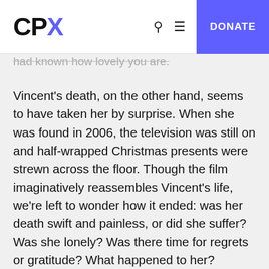CPX | Q ≡ DONATE
had known how lovely you are.
Vincent's death, on the other hand, seems to have taken her by surprise. When she was found in 2006, the television was still on and half-wrapped Christmas presents were strewn across the floor. Though the film imaginatively reassembles Vincent's life, we're left to wonder how it ended: was her death swift and painless, or did she suffer? Was she lonely? Was there time for regrets or gratitude? What happened to her?